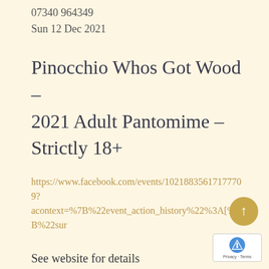07340 964349
Sun 12 Dec 2021
Pinocchio Whos Got Wood – 2021 Adult Pantomime – Strictly 18+
https://www.facebook.com/events/10218835617177709?
acontext=%7B%22event_action_history%22%3A[%7B%22sur
See website for details
https://www.wherecanwego.com/item/e146208